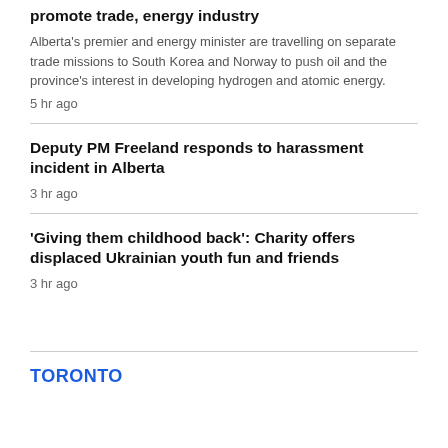promote trade, energy industry
Alberta's premier and energy minister are travelling on separate trade missions to South Korea and Norway to push oil and the province's interest in developing hydrogen and atomic energy.
5 hr ago
Deputy PM Freeland responds to harassment incident in Alberta
3 hr ago
'Giving them childhood back': Charity offers displaced Ukrainian youth fun and friends
3 hr ago
TORONTO